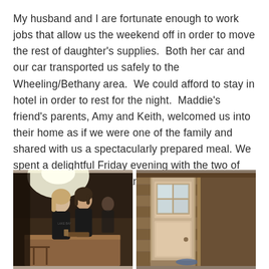My husband and I are fortunate enough to work jobs that allow us the weekend off in order to move the rest of daughter's supplies.  Both her car and our car transported us safely to the Wheeling/Bethany area.  We could afford to stay in hotel in order to rest for the night.  Maddie's friend's parents, Amy and Keith, welcomed us into their home as if we were one of the family and shared with us a spectacularly prepared meal. We spent a delightful Friday evening with the two of them alongside Maddie and two more of her friends.
[Figure (photo): Left photo: Two young women in black t-shirts working at a wooden table in a dimly lit room. A third person is visible in the background.]
[Figure (photo): Right photo: Interior view of a rustic wooden structure with a white-framed window with four panes, log walls, and a door visible.]